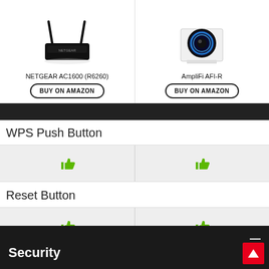[Figure (screenshot): Product comparison screenshot showing NETGEAR AC1600 (R6260) and AmpliFi AFI-R routers with BUY ON AMAZON buttons, and comparison rows for WPS Push Button and Reset Button features (both showing thumbs up for each product), plus a Security section header at bottom.]
NETGEAR AC1600 (R6260)
BUY ON AMAZON
AmpliFi AFI-R
BUY ON AMAZON
WPS Push Button
Reset Button
Security